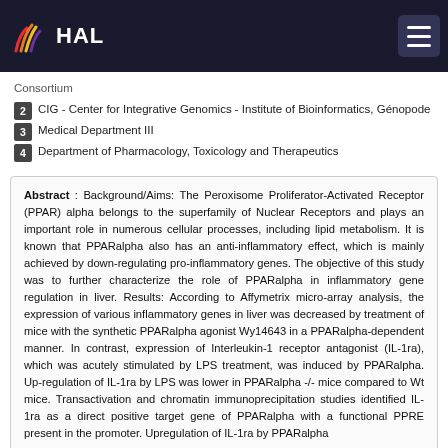HAL
Consortium
2  CIG - Center for Integrative Genomics - Institute of Bioinformatics, Génopode
3  Medical Department III
4  Department of Pharmacology, Toxicology and Therapeutics
Abstract : Background/Aims: The Peroxisome Proliferator-Activated Receptor (PPAR) alpha belongs to the superfamily of Nuclear Receptors and plays an important role in numerous cellular processes, including lipid metabolism. It is known that PPARalpha also has an anti-inflammatory effect, which is mainly achieved by down-regulating pro-inflammatory genes. The objective of this study was to further characterize the role of PPARalpha in inflammatory gene regulation in liver. Results: According to Affymetrix micro-array analysis, the expression of various inflammatory genes in liver was decreased by treatment of mice with the synthetic PPARalpha agonist Wy14643 in a PPARalpha-dependent manner. In contrast, expression of Interleukin-1 receptor antagonist (IL-1ra), which was acutely stimulated by LPS treatment, was induced by PPARalpha. Up-regulation of IL-1ra by LPS was lower in PPARalpha -/- mice compared to Wt mice. Transactivation and chromatin immunoprecipitation studies identified IL-1ra as a direct positive target gene of PPARalpha with a functional PPRE present in the promoter. Upregulation of IL-1ra by PPARalpha...